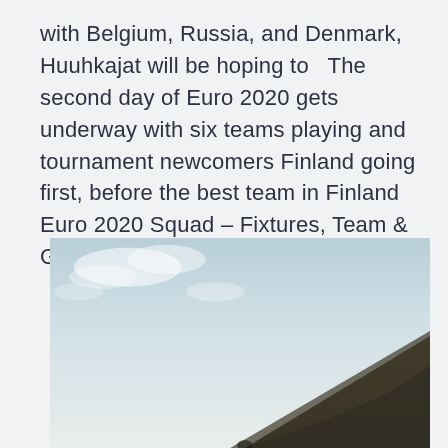with Belgium, Russia, and Denmark, Huuhkajat will be hoping to  The second day of Euro 2020 gets underway with six teams playing and tournament newcomers Finland going first, before the best team in Finland Euro 2020 Squad – Fixtures, Team & Group Games!
[Figure (photo): Outdoor landscape photo showing a dark hillside or mountain slope in the lower right, against a pale, slightly cloudy sky. Muted, desaturated tones.]